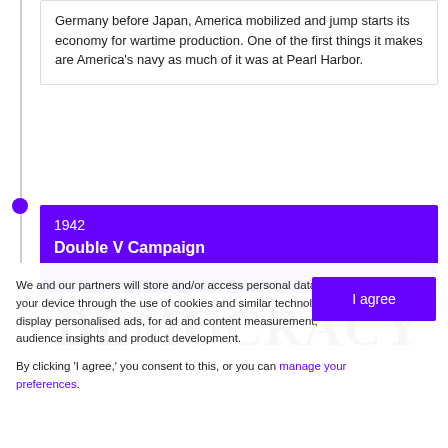Germany before Japan, America mobilized and jump starts its economy for wartime production. One of the first things it makes are America's navy as much of it was at Pearl Harbor.
1942
Double V Campaign
[Figure (photo): Large bold black text reading 'DEMOCRACY' on a white background, partially visible in a strip]
We and our partners will store and/or access personal data on your device through the use of cookies and similar technologies, to display personalised ads, for ad and content measurement, audience insights and product development.

By clicking 'I agree,' you consent to this, or you can manage your preferences.